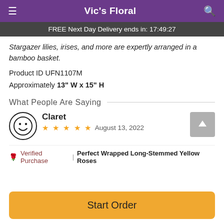Vic's Floral
FREE Next Day Delivery ends in: 17:49:27
Stargazer lilies, irises, and more are expertly arranged in a bamboo basket.
Product ID UFN1107M
Approximately 13" W x 15" H
What People Are Saying
Claret
★★★★★ August 13, 2022
Verified Purchase | Perfect Wrapped Long-Stemmed Yellow Roses
Start Order